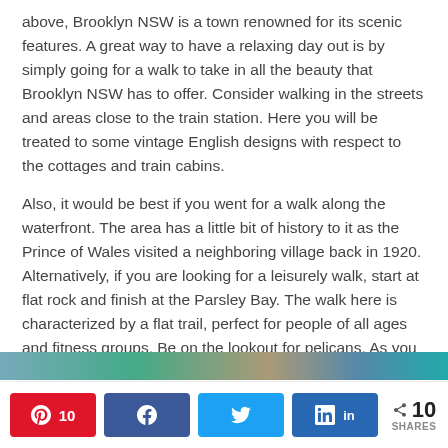above, Brooklyn NSW is a town renowned for its scenic features. A great way to have a relaxing day out is by simply going for a walk to take in all the beauty that Brooklyn NSW has to offer. Consider walking in the streets and areas close to the train station. Here you will be treated to some vintage English designs with respect to the cottages and train cabins.
Also, it would be best if you went for a walk along the waterfront. The area has a little bit of history to it as the Prince of Wales visited a neighboring village back in 1920. Alternatively, if you are looking for a leisurely walk, start at flat rock and finish at the Parsley Bay. The walk here is characterized by a flat trail, perfect for people of all ages and fitness groups. Be on the lookout for pelicans. As you head back, consider visiting the McKell park through the Federation Walk.
[Figure (photo): Partial image strip visible at the bottom of the content area]